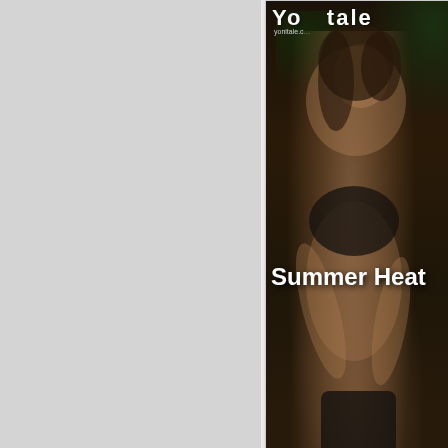[Figure (photo): Yonitale website screenshot showing a cover image titled 'Summer Heat' with a woman in lingerie against a dark tropical background, with the Yonitale logo and URL visible at top]
[IStripper, Heal-Fit, HollyRan...
21-01-2021, 13:24  by Alex